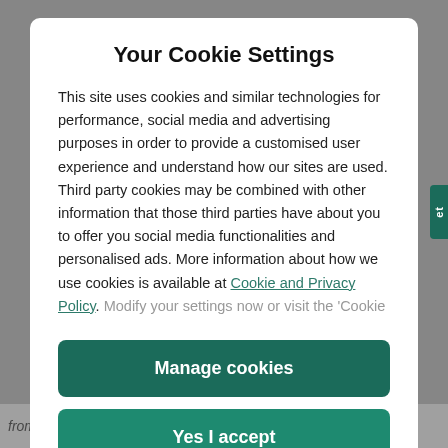Your Cookie Settings
This site uses cookies and similar technologies for performance, social media and advertising purposes in order to provide a customised user experience and understand how our sites are used. Third party cookies may be combined with other information that those third parties have about you to offer you social media functionalities and personalised ads. More information about how we use cookies is available at Cookie and Privacy Policy. Modify your settings now or visit the ‘Cookie
Manage cookies
Yes I accept
from the inside out, collagen cream topically targets one